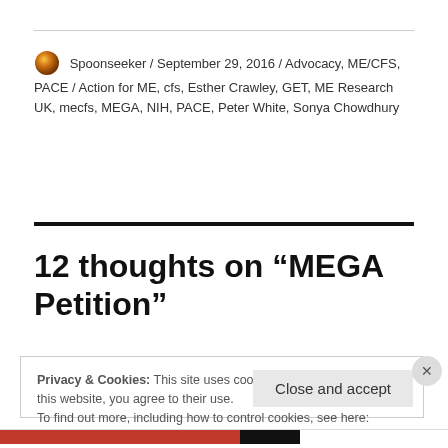Spoonseeker / September 29, 2016 / Advocacy, ME/CFS, PACE / Action for ME, cfs, Esther Crawley, GET, ME Research UK, mecfs, MEGA, NIH, PACE, Peter White, Sonya Chowdhury
12 thoughts on “MEGA Petition”
Privacy & Cookies: This site uses cookies. By continuing to use this website, you agree to their use.
To find out more, including how to control cookies, see here:
Cookie Policy
Close and accept